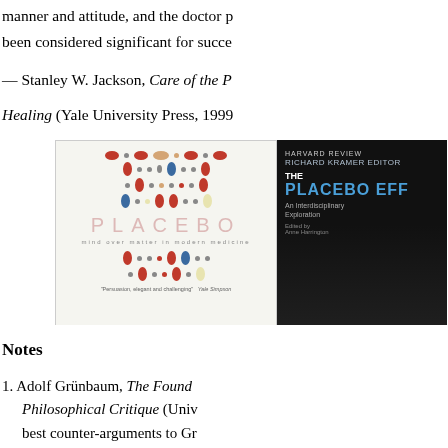manner and attitude, and the doctor p... been considered significant for succe...
— Stanley W. Jackson, Care of the P...
Healing (Yale University Press, 1999...
[Figure (photo): Two book covers side by side: 'PLACEBO mind over matter in modern medicine' on the left (showing colorful pills/capsules arranged in rows) and 'THE PLACEBO EFFECT' on the right (dark cover with a figure)]
Notes
1. Adolf Grünbaum, The Found... Philosophical Critique (Univ... best counter-arguments to Gr... titles in section 1 of my bibli...